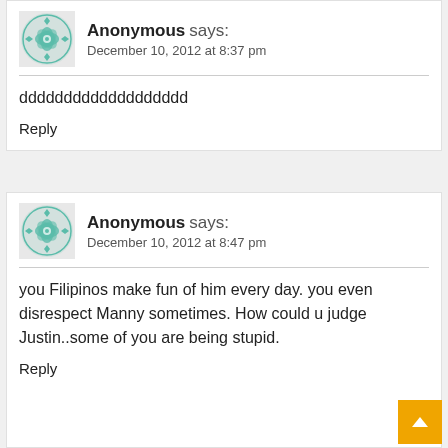Anonymous says: December 10, 2012 at 8:37 pm
ddddddddddddddddddd
Reply
Anonymous says: December 10, 2012 at 8:47 pm
you Filipinos make fun of him every day. you even disrespect Manny sometimes. How could u judge Justin..some of you are being stupid.
Reply